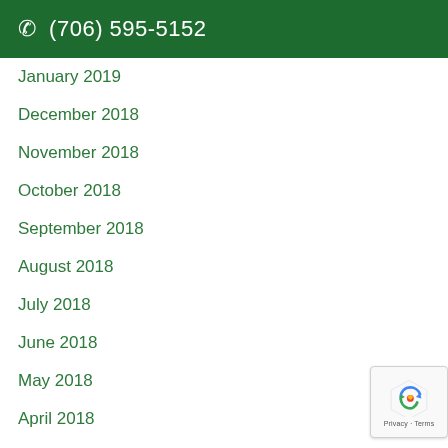(706) 595-5152
January 2019
December 2018
November 2018
October 2018
September 2018
August 2018
July 2018
June 2018
May 2018
April 2018
March 2018